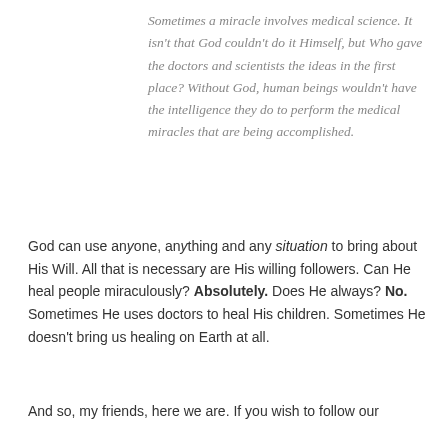Sometimes a miracle involves medical science. It isn't that God couldn't do it Himself, but Who gave the doctors and scientists the ideas in the first place? Without God, human beings wouldn't have the intelligence they do to perform the medical miracles that are being accomplished.
God can use anyone, anything and any situation to bring about His Will. All that is necessary are His willing followers. Can He heal people miraculously? Absolutely. Does He always? No. Sometimes He uses doctors to heal His children. Sometimes He doesn't bring us healing on Earth at all.
And so, my friends, here we are. If you wish to follow our